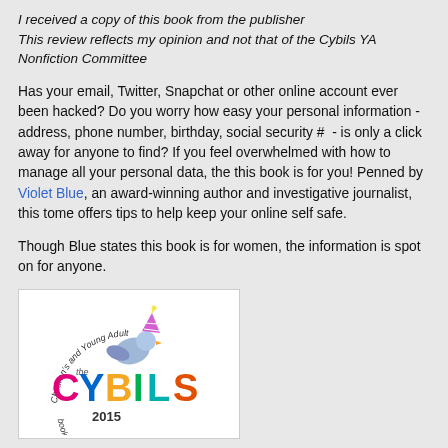I received a copy of this book from the publisher
This review reflects my opinion and not that of the Cybils YA Nonfiction Committee
Has your email, Twitter, Snapchat or other online account ever been hacked? Do you worry how easy your personal information - address, phone number, birthday, social security #  - is only a click away for anyone to find? If you feel overwhelmed with how to manage all your personal data, the this book is for you! Penned by Violet Blue, an award-winning author and investigative journalist, this tome offers tips to help keep your online self safe.
Though Blue states this book is for women, the information is spot on for anyone.
[Figure (logo): Cybils 2015 Children's and Young Adult bloggers literary awards logo with colorful CYBILS text and party hat bird illustration]